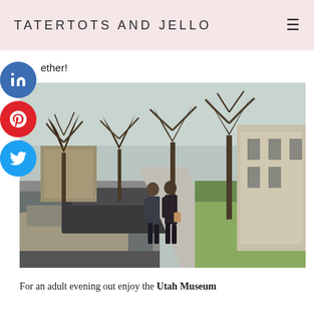TATERTOTS AND JELLO
ether!
[Figure (photo): Two women walking together on a city sidewalk lined with bare winter trees, with parked cars on the left and a large classical stone building on the right. Green grass is visible near the building.]
For an adult evening out enjoy the Utah Museum